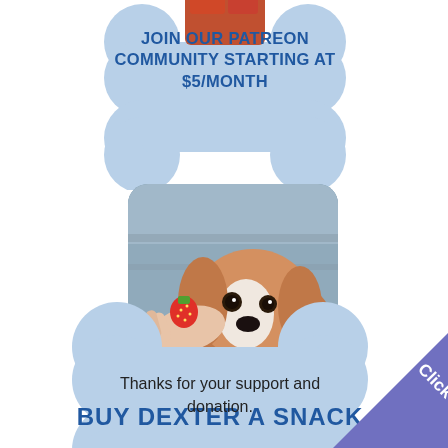[Figure (illustration): Dog bone shaped graphic in light blue with Patreon community text inside, and a small food image at top center]
JOIN OUR PATREON COMMUNITY STARTING AT $5/MONTH
[Figure (photo): Photo of a Cavalier King Charles Spaniel dog being offered a red strawberry by a human hand, set inside a rounded rectangle]
[Figure (illustration): Dog bone shaped graphic in light blue with 'BUY DEXTER A SNACK' text]
Thanks for your support and donation.
[Figure (illustration): Corner ribbon banner in blue-purple with 'Click it!' text]